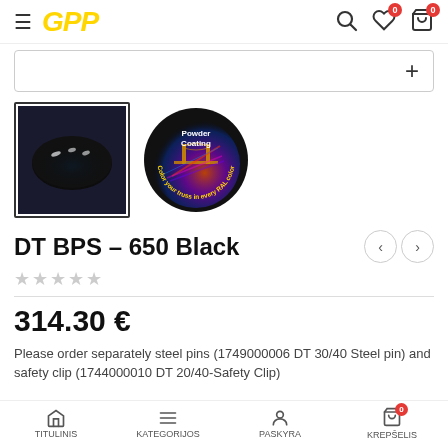GPP — navigation header with hamburger menu, logo, search, wishlist, cart icons
[Figure (screenshot): Product image thumbnail 1: black oval plate with reflective highlights (DT BPS-650 Black base plate)]
[Figure (screenshot): Product image thumbnail 2: circular badge reading 'Powder Coating — Color your truss in every RAL color']
DT BPS – 650 Black
★★★★★ (empty star rating)
314.30 €
Please order separately steel pins (1749000006 DT 30/40 Steel pin) and safety clip (1744000010 DT 20/40-Safety Clip)
TITULINIS | KATEGORIJOS | PASKYRA | KREPŠELIS